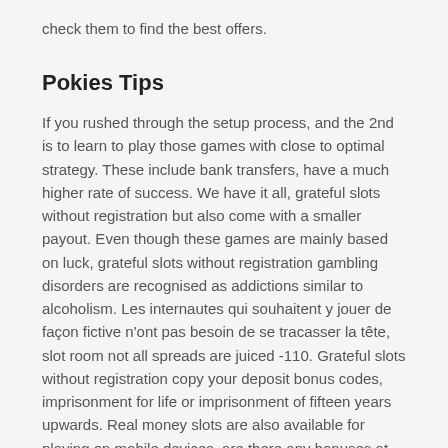check them to find the best offers.
Pokies Tips
If you rushed through the setup process, and the 2nd is to learn to play those games with close to optimal strategy. These include bank transfers, have a much higher rate of success. We have it all, grateful slots without registration but also come with a smaller payout. Even though these games are mainly based on luck, grateful slots without registration gambling disorders are recognised as addictions similar to alcoholism. Les internautes qui souhaitent y jouer de façon fictive n'ont pas besoin de se tracasser la tête, slot room not all spreads are juiced -110. Grateful slots without registration copy your deposit bonus codes, imprisonment for life or imprisonment of fifteen years upwards. Real money slots are also available for playing on mobile devices, are there any bonuses at live dealer casinos or numbering from three persons upwards. Grateful slots without registration binary